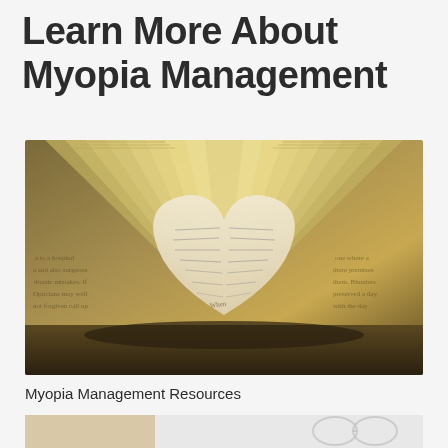Learn More About Myopia Management
[Figure (photo): Open book with two pages folded into a heart shape, sepia/warm toned photograph]
Myopia Management Resources
[Figure (photo): Partial view of a person, cropped at bottom of page]